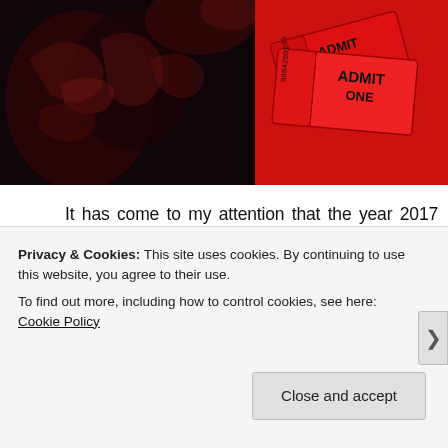[Figure (photo): Two images side by side at top: left shows a dark horror movie still with reddish muscular/organic shapes on black background; right shows red movie admission tickets with serial numbers 98842001 and 98842033.]
It has come to my attention that the year 2017 has almost hit its mid-point and with that in mind, I figured I'd recap what has happened movie wise this year so far. This post is inspired by the popular Mid-Year Book Freak Out tag that I've seen around in the book community but since I'm still all about being a movie blogger at heart, I decided to turn it into a
Privacy & Cookies: This site uses cookies. By continuing to use this website, you agree to their use.
To find out more, including how to control cookies, see here: Cookie Policy
Close and accept